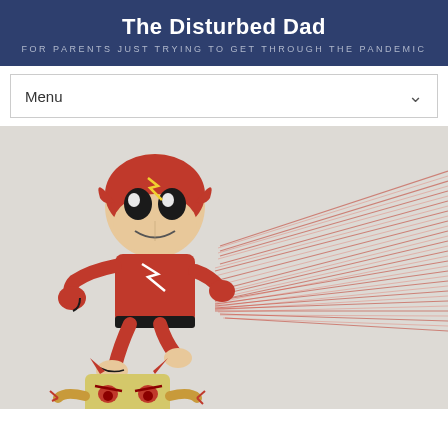The Disturbed Dad
FOR PARENTS JUST TRYING TO GET THROUGH THE PANDEMIC
Menu
[Figure (illustration): A child's crayon drawing of a superhero character (resembling The Flash) in a red costume running, with red speed lines trailing behind. Below is a yellow blocky villain character with red eyes and small horns.]